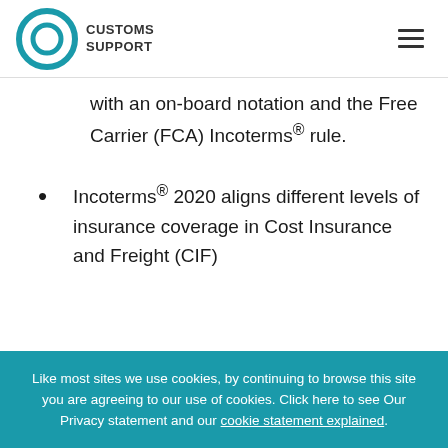Customs Support
with an on-board notation and the Free Carrier (FCA) Incoterms® rule.
Incoterms® 2020 aligns different levels of insurance coverage in Cost Insurance and Freight (CIF)
Like most sites we use cookies, by continuing to browse this site you are agreeing to our use of cookies. Click here to see Our Privacy statement and our cookie statement explained.